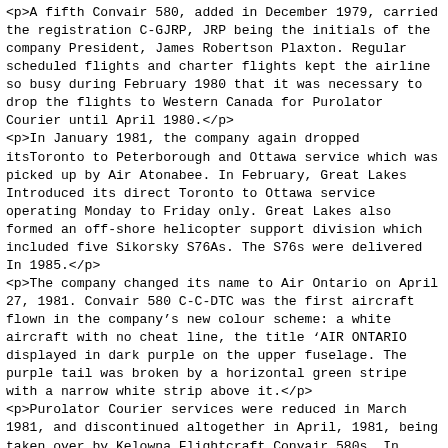<p>A fifth Convair 580, added in December 1979, carried the registration C-GJRP, JRP being the initials of the company President, James Robertson Plaxton. Regular scheduled flights and charter flights kept the airline so busy during February 1980 that it was necessary to drop the flights to Western Canada for Purolator Courier until April 1980.</p> <p>In January 1981, the company again dropped itsToronto to Peterborough and Ottawa service which was picked up by Air Atonabee. In February, Great Lakes Introduced its direct Toronto to Ottawa service operating Monday to Friday only. Great Lakes also formed an off-shore helicopter support division which included five Sikorsky S76As. The S76s were delivered In 1985.</p> <p>The company changed its name to Air Ontario on April 27, 1981. Convair 580 C-C-DTC was the first aircraft flown in the company's new colour scheme: a white aircraft with no cheat line, the title 'AIR ONTARIO displayed in dark purple on the upper fuselage. The purple tail was broken by a horizontal green stripe with a narrow white strip above it.</p> <p>Purolator Courier services were reduced in March 1981, and discontinued altogether in April, 1981, being taken over by Kelowna Flightcraft Convair 580s. In December 1981, 50% of the stock of the parent holding company was purchased by the Deluce family of Timmins who were the owners of Austin Airways and White River Air Service.</p> <p>In April, 1982, an interline agreement was arranged with...</p>